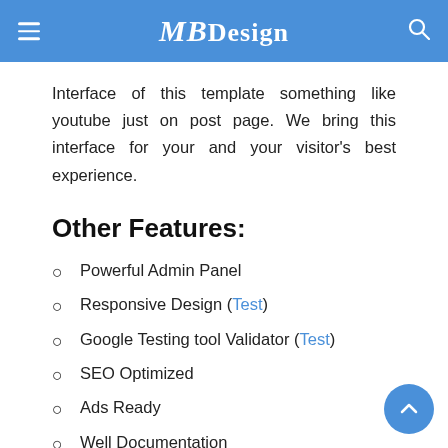MBDesign
Interface of this template something like youtube just on post page. We bring this interface for your and your visitor's best experience.
Other Features:
Powerful Admin Panel
Responsive Design (Test)
Google Testing tool Validator (Test)
SEO Optimized
Ads Ready
Well Documentation
Unlimited Home Layout Box